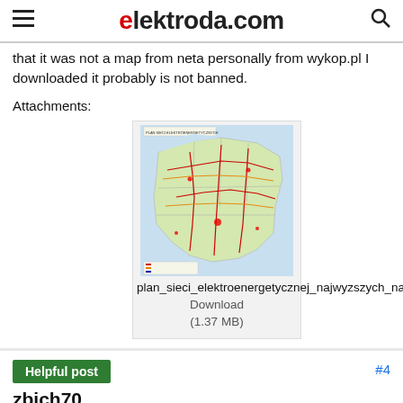elektroda.com
that it was not a map from neta personally from wykop.pl I downloaded it probably is not banned.
Attachments:
[Figure (map): Map of Poland showing electrical grid / high voltage network (plan sieci elektroenergetycznej najwyzszych napiec)]
plan_sieci_elektroenergetycznej_najwyzszych_napiec.gif
Download (1.37 MB)
Helpful post
#4
zbich70
Level 43
Helpful post? (+4)